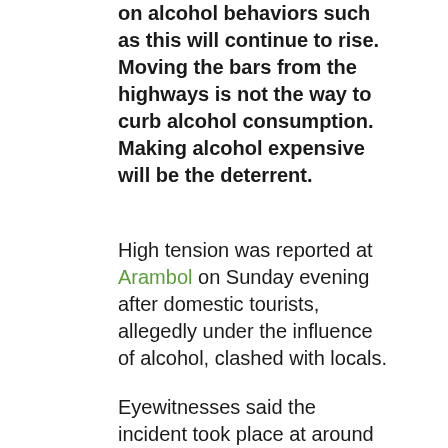on alcohol behaviors such as this will continue to rise. Moving the bars from the highways is not the way to curb alcohol consumption. Making alcohol expensive will be the deterrent.
High tension was reported at Arambol on Sunday evening after domestic tourists, allegedly under the influence of alcohol, clashed with locals.
Eyewitnesses said the incident took place at around 6.45pm, when eight to ten domestic tourists, supposedly from Haryana and Uttar Pradesh, were traveling from Keri towards Arambol, in two four-wheelers. The group was alleged to have been behaving in an unruly manner and flinging beer bottles from their vehicles onto the road.